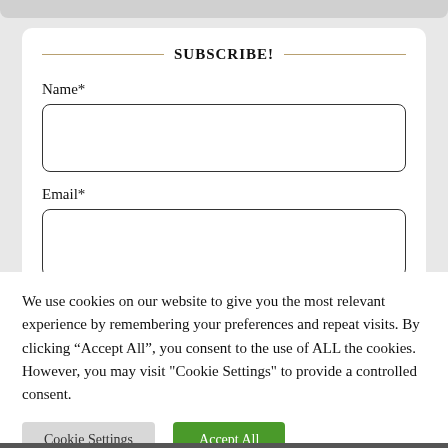SUBSCRIBE!
Name*
Email*
We use cookies on our website to give you the most relevant experience by remembering your preferences and repeat visits. By clicking “Accept All”, you consent to the use of ALL the cookies. However, you may visit "Cookie Settings" to provide a controlled consent.
Cookie Settings
Accept All